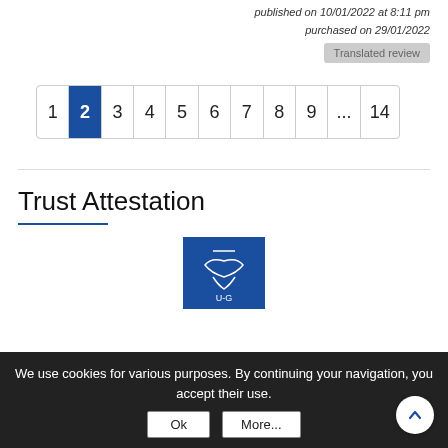published on 10/01/2022 at 8:11 pm
purchased on 29/01/2022
Translated review
1 2 3 4 5 6 7 8 9 ... 14
Trust Attestation
[Figure (logo): Trust Attestation logo — dark blue square with decorative emblem and text]
We use cookies for various purposes. By continuing your navigation, you accept their use. Ok More...